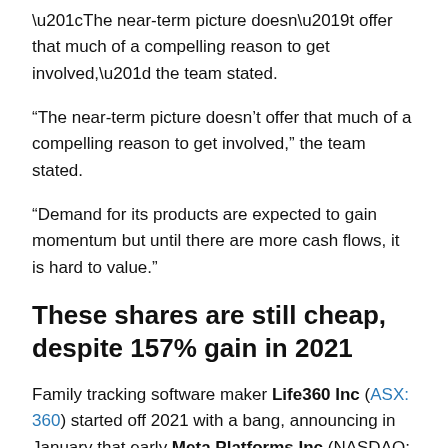“The near-term picture doesn’t offer that much of a compelling reason to get involved,” the team stated.
“Demand for its products are expected to gain momentum but until there are more cash flows, it is hard to value.”
These shares are still cheap, despite 157% gain in 2021
Family tracking software maker Life360 Inc (ASX: 360) started off 2021 with a bang, announcing in January that early Meta Platforms Inc (NASDAQ: